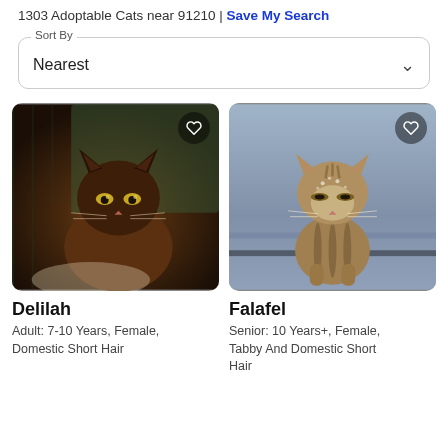1303 Adoptable Cats near 91210 | Save My Search
Sort By — Nearest
[Figure (photo): Photo of a dark brown/black adult cat with yellow-green eyes sitting in a cage or enclosure with green background]
Delilah
Adult: 7-10 Years, Female, Domestic Short Hair
[Figure (photo): Photo of a tabby senior cat with striped markings walking toward camera on a grey/blue surface]
Falafel
Senior: 10 Years+, Female, Tabby And Domestic Short Hair